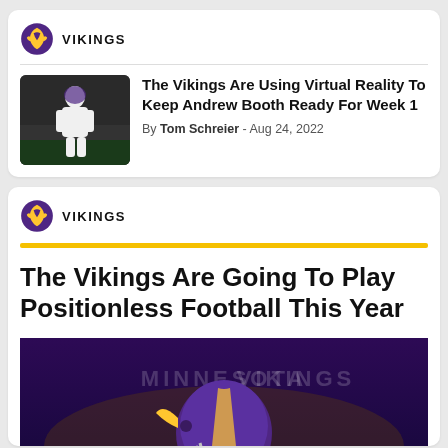[Figure (logo): Minnesota Vikings logo]
VIKINGS
[Figure (photo): Football player in white uniform in defensive stance on field]
The Vikings Are Using Virtual Reality To Keep Andrew Booth Ready For Week 1
By Tom Schreier - Aug 24, 2022
[Figure (logo): Minnesota Vikings logo]
VIKINGS
The Vikings Are Going To Play Positionless Football This Year
[Figure (photo): Vikings player with purple helmet on dark stadium background with Minnesota Vikings branding]